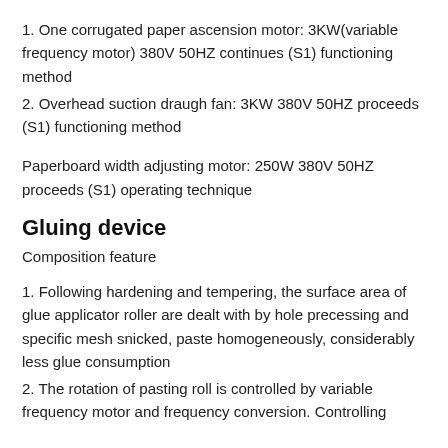1. One corrugated paper ascension motor: 3KW(variable frequency motor) 380V 50HZ continues (S1) functioning method
2. Overhead suction draugh fan: 3KW 380V 50HZ proceeds (S1) functioning method
Paperboard width adjusting motor: 250W 380V 50HZ proceeds (S1) operating technique
Gluing device
Composition feature
1. Following hardening and tempering, the surface area of glue applicator roller are dealt with by hole precessing and specific mesh snicked, paste homogeneously, considerably less glue consumption
2. The rotation of pasting roll is controlled by variable frequency motor and frequency conversion. Controlling